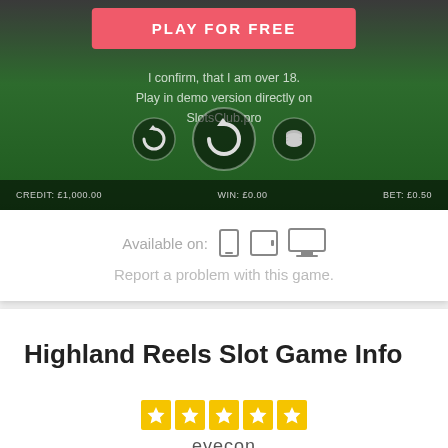[Figure (screenshot): Screenshot of Highland Reels slot game interface showing game controls, a Play For Free button, age confirmation text, and bottom status bar with credits/win/bet info]
Available on: [mobile] [tablet] [desktop]
Report a problem with this game.
Highland Reels Slot Game Info
[Figure (logo): Eyecon logo with five gold star squares above the text 'eyecon']